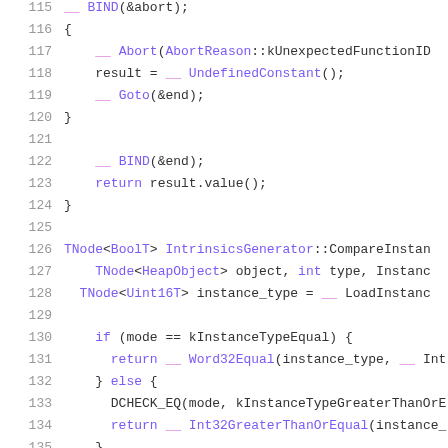[Figure (screenshot): Source code listing showing C++ code lines 115-136 with syntax highlighting. Purple and magenta colored keywords, function names, and types on white background with grey line numbers.]